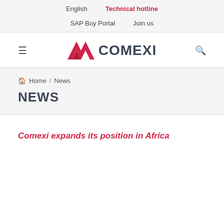English   Technical hotline   SAP Buy Portal   Join us
[Figure (logo): Comexi logo with red stylized wave mark and dark grey COMEXI wordmark]
Home / News
NEWS
Comexi expands its position in Africa